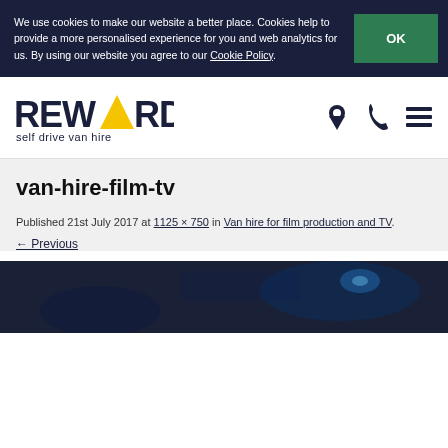We use cookies to make our website a better place. Cookies help to provide a more personalised experience for you and web analytics for us. By using our website you agree to our Cookie Policy.
[Figure (logo): Reward self drive van hire logo with yellow triangle replacing letter A]
van-hire-film-tv
Published 21st July 2017 at 1125 × 750 in Van hire for film production and TV.
← Previous
[Figure (photo): Dark cinematic photo showing interior/dashboard of a vehicle with blue tones]